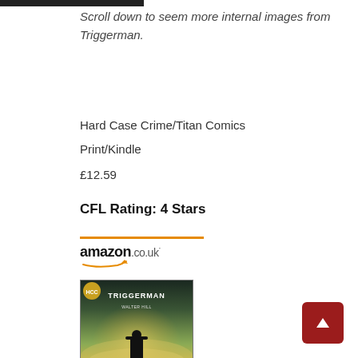Scroll down to seem more internal images from Triggerman.
Hard Case Crime/Titan Comics
Print/Kindle
£12.59
CFL Rating: 4 Stars
[Figure (logo): Amazon.co.uk logo with orange arrow swoosh beneath text]
[Figure (photo): Book cover of Walter Hill's Triggerman showing a silhouetted figure in a misty, golden-yellow atmospheric scene]
Walter Hill's Triggerman...
£7.38